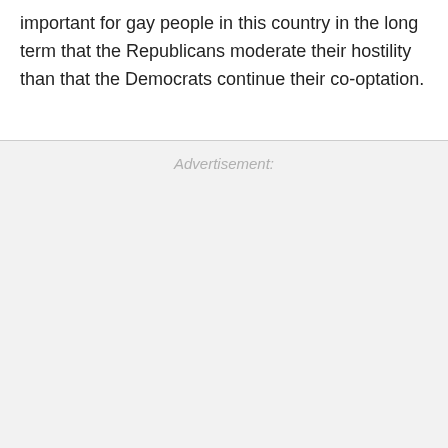important for gay people in this country in the long term that the Republicans moderate their hostility than that the Democrats continue their co-optation.
Advertisement: